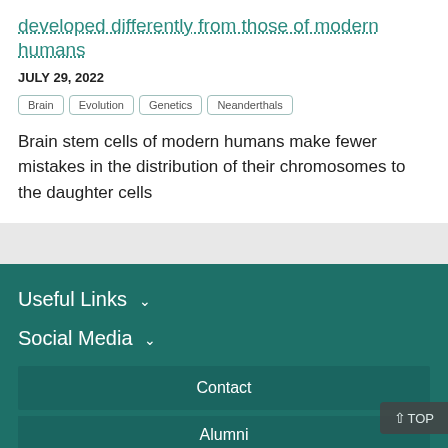developed differently from those of modern humans
JULY 29, 2022
Brain
Evolution
Genetics
Neanderthals
Brain stem cells of modern humans make fewer mistakes in the distribution of their chromosomes to the daughter cells
Useful Links
Social Media
Contact
Alumni